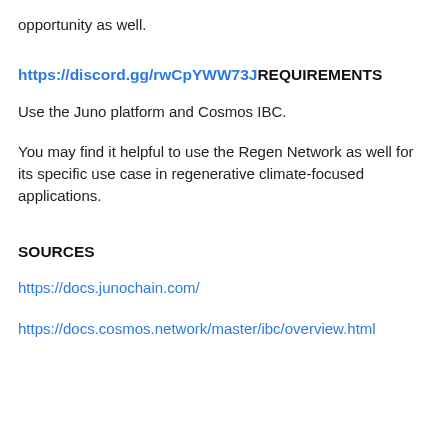opportunity as well.
https://discord.gg/rwCpYWW73JREQUIREMENTS
Use the Juno platform and Cosmos IBC.
You may find it helpful to use the Regen Network as well for its specific use case in regenerative climate-focused applications.
SOURCES
https://docs.junochain.com/
https://docs.cosmos.network/master/ibc/overview.html